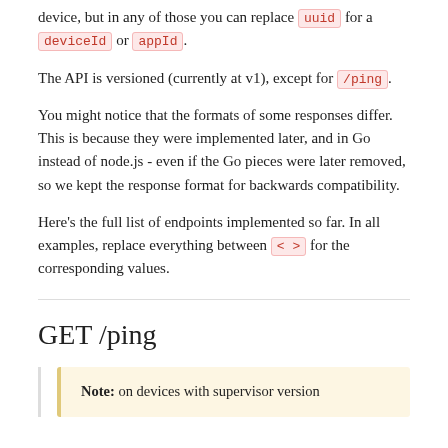device, but in any of those you can replace uuid for a deviceId or appId.
The API is versioned (currently at v1), except for /ping.
You might notice that the formats of some responses differ. This is because they were implemented later, and in Go instead of node.js - even if the Go pieces were later removed, so we kept the response format for backwards compatibility.
Here's the full list of endpoints implemented so far. In all examples, replace everything between < > for the corresponding values.
GET /ping
Note: on devices with supervisor version